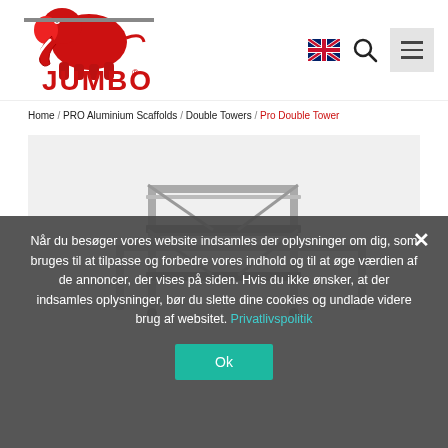[Figure (logo): Jumbo brand logo with red elephant and JUMBO text in red]
Home / PRO Aluminium Scaffolds / Double Towers / Pro Double Tower
[Figure (photo): Pro Double Tower aluminium scaffold product image on light background]
Når du besøger vores website indsamles der oplysninger om dig, som bruges til at tilpasse og forbedre vores indhold og til at øge værdien af de annoncer, der vises på siden. Hvis du ikke ønsker, at der indsamles oplysninger, bør du slette dine cookies og undlade videre brug af websitet. Privatlivspolitik
Ok